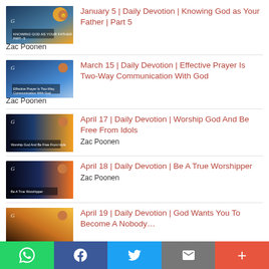January 5 | Daily Devotion | Knowing God as Your Father | Part 5 — Zac Poonen
March 15 | Daily Devotion | Effective Prayer Is Two-Way Communication With God — Zac Poonen
April 17 | Daily Devotion | Worship God And Be Free From Idols — Zac Poonen
April 18 | Daily Devotion | Be A True Worshipper — Zac Poonen
April 19 | Daily Devotion | God Wants You To Become A Nobody…